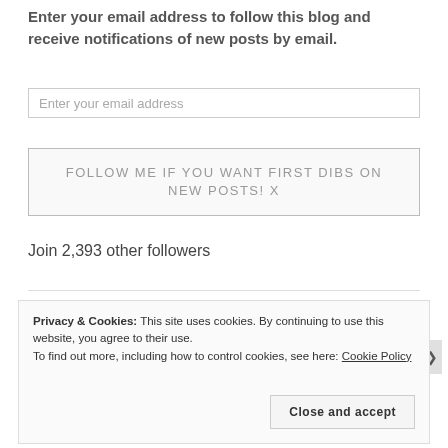Enter your email address to follow this blog and receive notifications of new posts by email.
Enter your email address
FOLLOW ME IF YOU WANT FIRST DIBS ON NEW POSTS! X
Join 2,393 other followers
Privacy & Cookies: This site uses cookies. By continuing to use this website, you agree to their use.
To find out more, including how to control cookies, see here: Cookie Policy
Close and accept